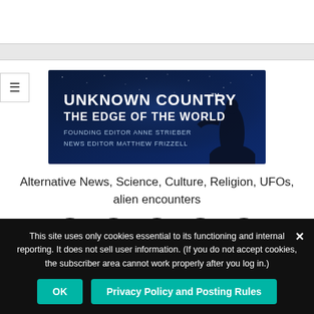[Figure (logo): Unknown Country website banner: dark blue starry background with silhouette of a figure, text reads 'UNKNOWN COUNTRY TM THE EDGE OF THE WORLD FOUNDING EDITOR ANNE STRIEBER NEWS EDITOR MATTHEW FRIZZELL']
Alternative News, Science, Culture, Religion, UFOs, alien encounters
[Figure (infographic): Row of 5 black circular social media icons: Facebook, Twitter, YouTube, Amazon, Email]
This site uses only cookies essential to its functioning and internal reporting. It does not sell user information. (If you do not accept cookies, the subscriber area cannot work properly after you log in.) ×
OK   Privacy Policy and Posting Rules